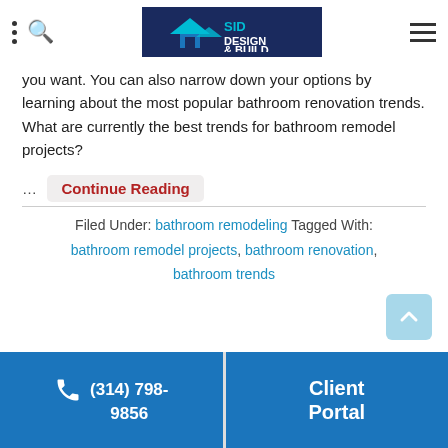SID DESIGN & BUILD — navigation header
you want. You can also narrow down your options by learning about the most popular bathroom renovation trends. What are currently the best trends for bathroom remodel projects?
… Continue Reading
Filed Under: bathroom remodeling Tagged With: bathroom remodel projects, bathroom renovation, bathroom trends
[Figure (other): Light blue back-to-top arrow button]
(314) 798-9856  |  Client Portal